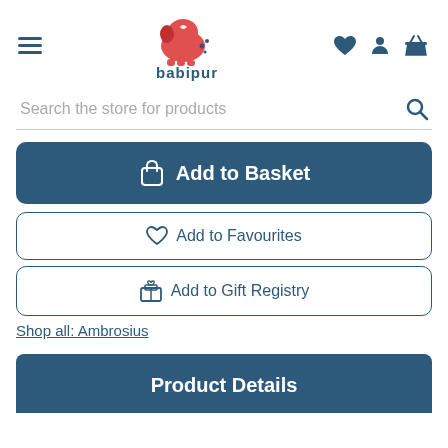babipur — hamburger menu, logo, nav icons (heart, account, basket)
Search the store for products
Add to Basket
Add to Favourites
Add to Gift Registry
Shop all: Ambrosius
Product Details